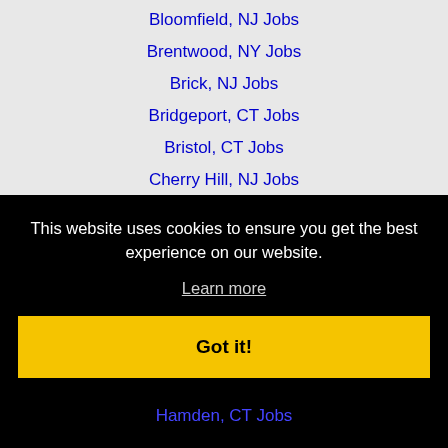Bloomfield, NJ Jobs
Brentwood, NY Jobs
Brick, NJ Jobs
Bridgeport, CT Jobs
Bristol, CT Jobs
Cherry Hill, NJ Jobs
Clifton, NJ Jobs
Danbury, CT Jobs
East Brunswick, NJ Jobs
East Hartford, CT Jobs
This website uses cookies to ensure you get the best experience on our website.
Learn more
Got it!
Hamden, CT Jobs